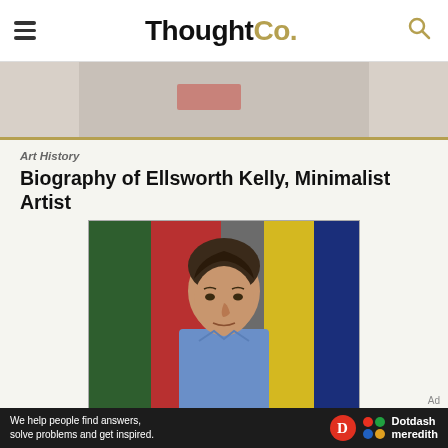ThoughtCo.
[Figure (photo): Partial top image showing a minimalist artwork with a pink/salmon colored rectangular block on a grey background]
Art History
Biography of Ellsworth Kelly, Minimalist Artist
[Figure (photo): Portrait photograph of Ellsworth Kelly, a man in a blue shirt, standing in front of colorful minimalist panels in green, red, yellow, and blue]
Ad
We help people find answers, solve problems and get inspired. Dotdash meredith